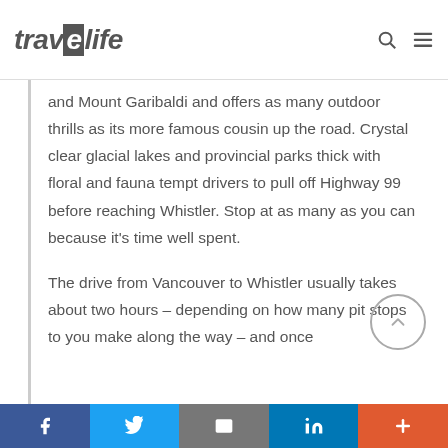travelife
and Mount Garibaldi and offers as many outdoor thrills as its more famous cousin up the road. Crystal clear glacial lakes and provincial parks thick with floral and fauna tempt drivers to pull off Highway 99 before reaching Whistler. Stop at as many as you can because it's time well spent.
The drive from Vancouver to Whistler usually takes about two hours – depending on how many pit stops to you make along the way – and once
Facebook Twitter Email LinkedIn +